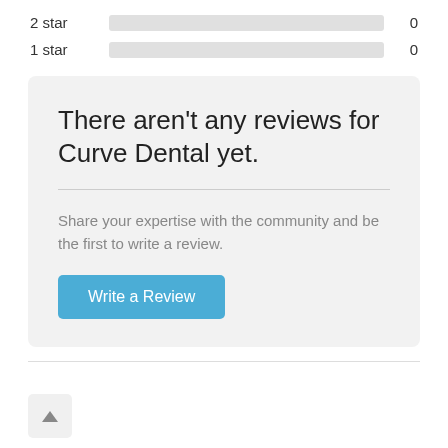2 star   0
1 star   0
There aren't any reviews for Curve Dental yet.
Share your expertise with the community and be the first to write a review.
Write a Review